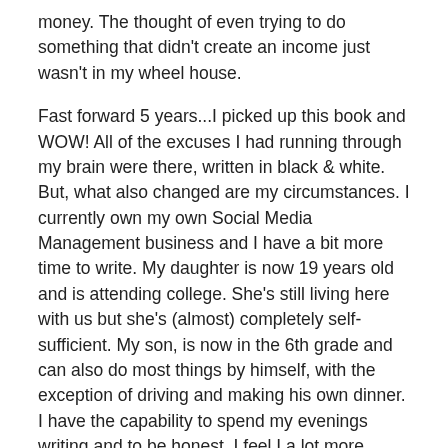money. The thought of even trying to do something that didn't create an income just wasn't in my wheel house.
Fast forward 5 years...I picked up this book and WOW! All of the excuses I had running through my brain were there, written in black & white. But, what also changed are my circumstances. I currently own my own Social Media Management business and I have a bit more time to write. My daughter is now 19 years old and is attending college. She's still living here with us but she's (almost) completely self-sufficient. My son, is now in the 6th grade and can also do most things by himself, with the exception of driving and making his own dinner. I have the capability to spend my evenings writing and to be honest, I feel I a lot more knowledge of life and have experienced so many things, both good and bad. Have you ever heard of Covid-19? I've raised a human being (or two), changed careers, owned a business, become a home school teacher, mastered (kind